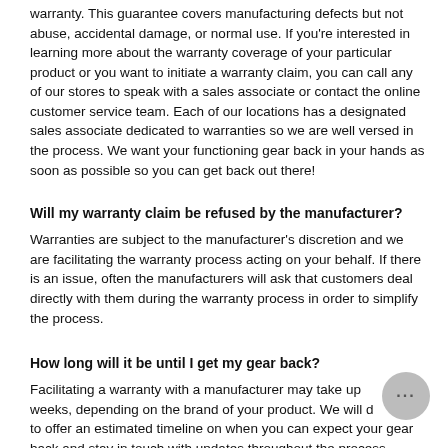warranty. This guarantee covers manufacturing defects but not abuse, accidental damage, or normal use. If you're interested in learning more about the warranty coverage of your particular product or you want to initiate a warranty claim, you can call any of our stores to speak with a sales associate or contact the online customer service team. Each of our locations has a designated sales associate dedicated to warranties so we are well versed in the process. We want your functioning gear back in your hands as soon as possible so you can get back out there!
Will my warranty claim be refused by the manufacturer?
Warranties are subject to the manufacturer's discretion and we are facilitating the warranty process acting on your behalf. If there is an issue, often the manufacturers will ask that customers deal directly with them during the warranty process in order to simplify the process.
How long will it be until I get my gear back?
Facilitating a warranty with a manufacturer may take up to several weeks, depending on the brand of your product. We will do our best to offer an estimated timeline on when you can expect your gear back and stay in touch with updates throughout the process.